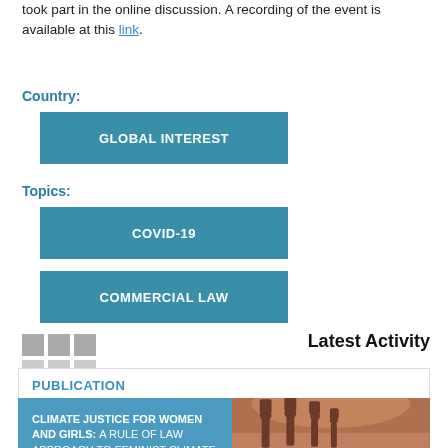took part in the online discussion. A recording of the event is available at this link.
Country:
GLOBAL INTEREST
Topics:
COVID-19
COMMERCIAL LAW
Latest Activity
PUBLICATION
CLIMATE JUSTICE FOR WOMEN AND GIRLS: A RULE OF LAW APPROACH TO FEMINIST CLIMATE